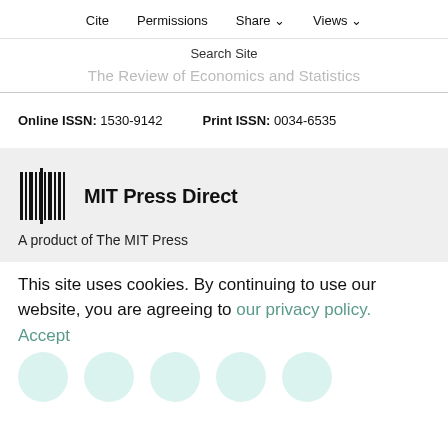Cite   Permissions   Share ∨   Views ∨
Search Site
The Review of Economics and Statistics
Online ISSN: 1530-9142   Print ISSN: 0034-6535
[Figure (logo): MIT Press Direct logo with barcode-style vertical lines graphic and bold text reading MIT Press Direct]
A product of The MIT Press
This site uses cookies. By continuing to use our website, you are agreeing to our privacy policy.
Accept